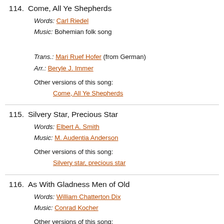114. Come, All Ye Shepherds
Words: Carl Riedel
Music: Bohemian folk song
Trans.: Mari Ruef Hofer (from German)
Arr.: Beryle J. Immer
Other versions of this song:
Come, All Ye Shepherds
115. Silvery Star, Precious Star
Words: Elbert A. Smith
Music: M. Audentia Anderson
Other versions of this song:
Silvery star, precious star
116. As With Gladness Men of Old
Words: William Chatterton Dix
Music: Conrad Kocher
Other versions of this song: